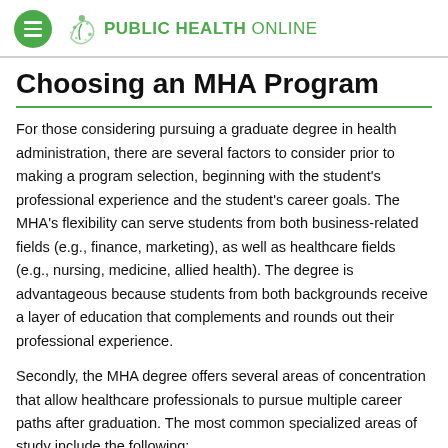PUBLIC HEALTH ONLINE
Choosing an MHA Program
For those considering pursuing a graduate degree in health administration, there are several factors to consider prior to making a program selection, beginning with the student's professional experience and the student's career goals. The MHA's flexibility can serve students from both business-related fields (e.g., finance, marketing), as well as healthcare fields (e.g., nursing, medicine, allied health). The degree is advantageous because students from both backgrounds receive a layer of education that complements and rounds out their professional experience.
Secondly, the MHA degree offers several areas of concentration that allow healthcare professionals to pursue multiple career paths after graduation. The most common specialized areas of study include the following: